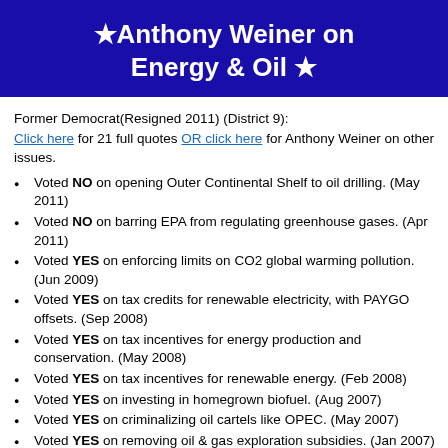★ Anthony Weiner on Energy & Oil ★
Former Democrat(Resigned 2011) (District 9): Click here for 21 full quotes OR click here for Anthony Weiner on other issues.
Voted NO on opening Outer Continental Shelf to oil drilling. (May 2011)
Voted NO on barring EPA from regulating greenhouse gases. (Apr 2011)
Voted YES on enforcing limits on CO2 global warming pollution. (Jun 2009)
Voted YES on tax credits for renewable electricity, with PAYGO offsets. (Sep 2008)
Voted YES on tax incentives for energy production and conservation. (May 2008)
Voted YES on tax incentives for renewable energy. (Feb 2008)
Voted YES on investing in homegrown biofuel. (Aug 2007)
Voted YES on criminalizing oil cartels like OPEC. (May 2007)
Voted YES on removing oil & gas exploration subsidies. (Jan 2007)
Voted YES on keeping moratorium on drilling for oil offshore. (Jun 2006)
Voted NO on scheduling permitting for new oil